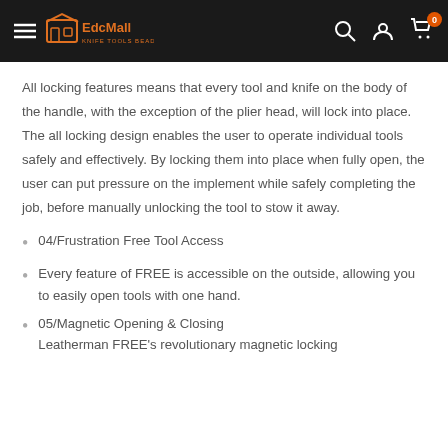EdcMall - Knife Tools Beads
All locking features means that every tool and knife on the body of the handle, with the exception of the plier head, will lock into place. The all locking design enables the user to operate individual tools safely and effectively. By locking them into place when fully open, the user can put pressure on the implement while safely completing the job, before manually unlocking the tool to stow it away.
04/Frustration Free Tool Access
Every feature of FREE is accessible on the outside, allowing you to easily open tools with one hand.
05/Magnetic Opening & Closing
Leatherman FREE's revolutionary magnetic locking